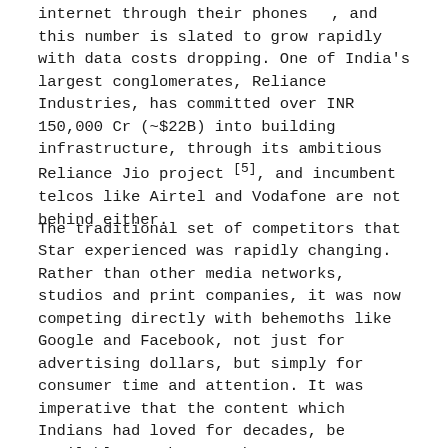internet through their phones , and this number is slated to grow rapidly with data costs dropping. One of India's largest conglomerates, Reliance Industries, has committed over INR 150,000 Cr (~$22B) into building infrastructure, through its ambitious Reliance Jio project [5], and incumbent telcos like Airtel and Vodafone are not behind either.
The traditional set of competitors that Star experienced was rapidly changing. Rather than other media networks, studios and print companies, it was now competing directly with behemoths like Google and Facebook, not just for advertising dollars, but simply for consumer time and attention. It was imperative that the content which Indians had loved for decades, be available to them anywhere, on any device of their choosing.